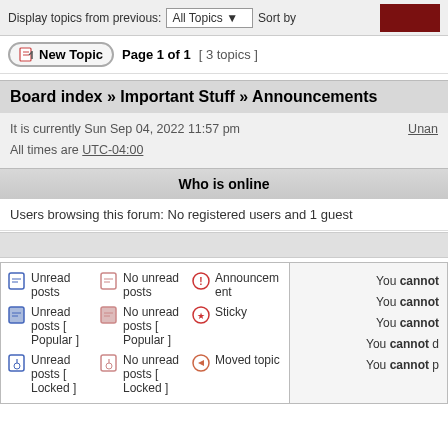Display topics from previous: All Topics ▼  Sort by
New Topic  Page 1 of 1  [ 3 topics ]
Board index » Important Stuff » Announcements
It is currently Sun Sep 04, 2022 11:57 pm
All times are UTC-04:00
Unan
Who is online
Users browsing this forum: No registered users and 1 guest
Unread posts
No unread posts
Announcement
Unread posts [ Popular ]
No unread posts [ Popular ]
Sticky
Unread posts [ Locked ]
No unread posts [ Locked ]
Moved topic
You cannot
You cannot
You cannot
You cannot d
You cannot p